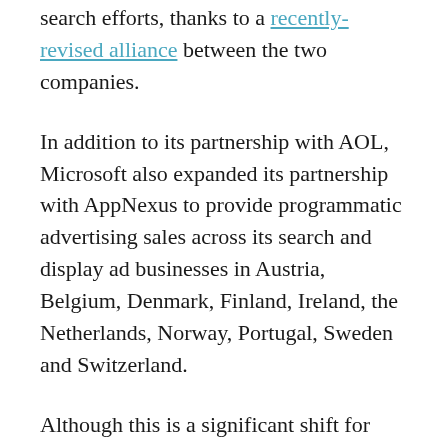search efforts, thanks to a recently-revised alliance between the two companies.
In addition to its partnership with AOL, Microsoft also expanded its partnership with AppNexus to provide programmatic advertising sales across its search and display ad businesses in Austria, Belgium, Denmark, Finland, Ireland, the Netherlands, Norway, Portugal, Sweden and Switzerland.
Although this is a significant shift for Microsoft, it doesn't mean that the company is getting out of running its advertising business entirely—quite the contrary. Search advertising through Bing has grown, and the search engine is profitable on its own, according to a report by Search Engine Land. Contrast that with Microsoft's display business,